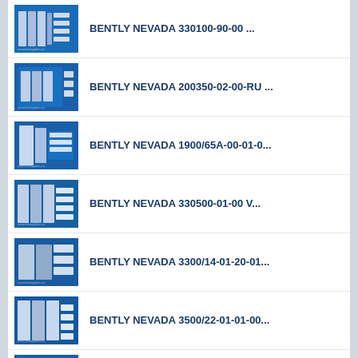BENTLY NEVADA 330100-90-00 ...
BENTLY NEVADA 200350-02-00-RU ...
BENTLY NEVADA 1900/65A-00-01-0...
BENTLY NEVADA 330500-01-00 V...
BENTLY NEVADA 3300/14-01-20-01...
BENTLY NEVADA 3500/22-01-01-00...
BENTLY NEVADA 3500/15-01-01-00...